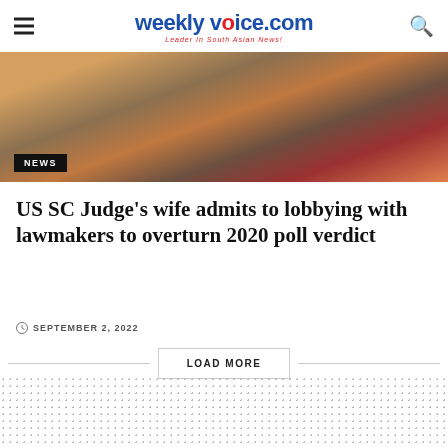weeklyvoice.com — Leader In South Asian News!
[Figure (photo): Photo of people at an event with a 'NEWS' badge overlay]
US SC Judge's wife admits to lobbying with lawmakers to overturn 2020 poll verdict
SEPTEMBER 2, 2022
LOAD MORE